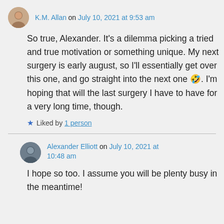K.M. Allan on July 10, 2021 at 9:53 am
So true, Alexander. It's a dilemma picking a tried and true motivation or something unique. My next surgery is early august, so I'll essentially get over this one, and go straight into the next one 🤣. I'm hoping that will the last surgery I have to have for a very long time, though.
Liked by 1 person
Alexander Elliott on July 10, 2021 at 10:48 am
I hope so too. I assume you will be plenty busy in the meantime!